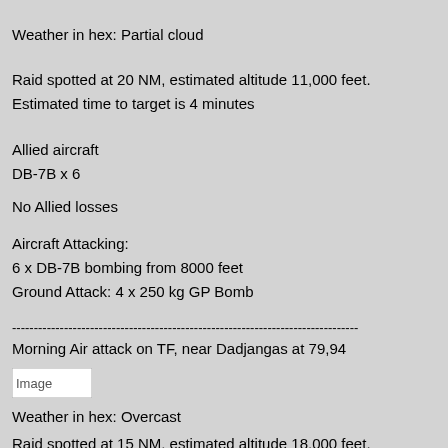Weather in hex: Partial cloud
Raid spotted at 20 NM, estimated altitude 11,000 feet.
Estimated time to target is 4 minutes
Allied aircraft
DB-7B x 6
No Allied losses
Aircraft Attacking:
6 x DB-7B bombing from 8000 feet
Ground Attack: 4 x 250 kg GP Bomb
--------------------------------------------------------------------------------
Morning Air attack on TF, near Dadjangas at 79,94
[Figure (other): Image placeholder (broken image icon)]
Weather in hex: Overcast
Raid spotted at 15 NM, estimated altitude 18,000 feet.